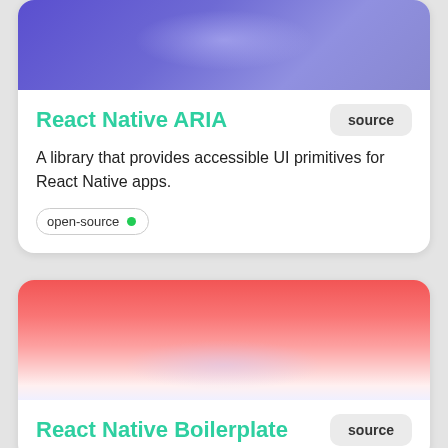[Figure (illustration): Purple/indigo gradient banner image at top of first card]
React Native ARIA
source
A library that provides accessible UI primitives for React Native apps.
open-source
[Figure (illustration): Red/pink gradient banner image at top of second card]
React Native Boilerplate
source